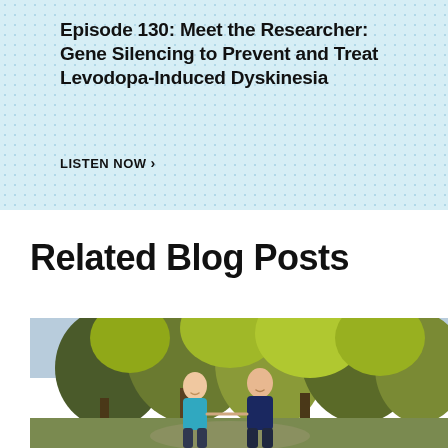Episode 130: Meet the Researcher: Gene Silencing to Prevent and Treat Levodopa-Induced Dyskinesia
LISTEN NOW ›
Related Blog Posts
[Figure (photo): Two older adults, a woman in a teal jacket and a man in a dark blue jacket, walking together outdoors among green trees, smiling and holding hands.]